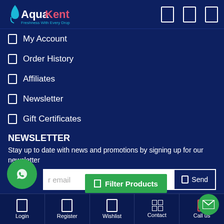AquaKent - Freshness With Every Drop
My Account
Order History
Affiliates
Newsletter
Gift Certificates
NEWSLETTER
Stay up to date with news and promotions by signing up for our newsletter
CAPTCHA
Login | Register | Wishlist | Contact | Call us